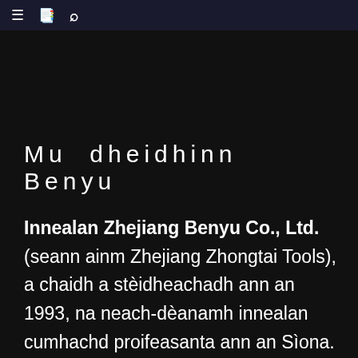≡  📋  🔍
Mu dheidhinn Benyu
Innealan Zhejiang Benyu Co., Ltd.(seann ainm Zhejiang Zhongtai Tools), a chaidh a stèidheachadh ann an 1993, na neach-dèanamh innealan cumhachd proifeasanta ann an Sìona. Tro còrr air 27 bliadhna de dh'obair chruaidh agus ùr-ghnàthachadh leantainneach, stèidhich a' chompanaidh siostam èifeachdais de R&D, saothrachadh,